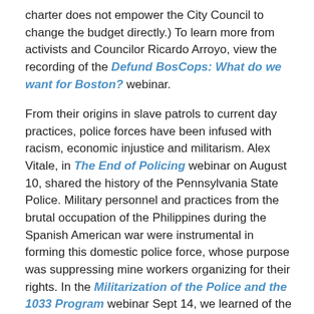charter does not empower the City Council to change the budget directly.) To learn more from activists and Councilor Ricardo Arroyo, view the recording of the Defund BosCops: What do we want for Boston? webinar.
From their origins in slave patrols to current day practices, police forces have been infused with racism, economic injustice and militarism. Alex Vitale, in The End of Policing webinar on August 10, shared the history of the Pennsylvania State Police. Military personnel and practices from the brutal occupation of the Philippines during the Spanish American war were instrumental in forming this domestic police force, whose purpose was suppressing mine workers organizing for their rights. In the Militarization of the Police and the 1033 Program webinar Sept 14, we learned of the current day use of war equipment and tactics of punitive policing against communities of color and protesters.
Until recently, the extent to which women have been targets of police harassment and violence has been largely